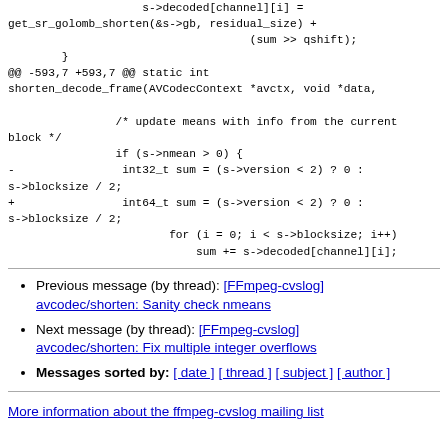s->decoded[channel][i] =
get_sr_golomb_shorten(&s->gb, residual_size) +
                                (sum >> qshift);
        }
@@ -593,7 +593,7 @@ static int shorten_decode_frame(AVCodecContext *avctx, void *data,

                /* update means with info from the current block */
                if (s->nmean > 0) {
-                int32_t sum = (s->version < 2) ? 0 : s->blocksize / 2;
+                int64_t sum = (s->version < 2) ? 0 : s->blocksize / 2;
                        for (i = 0; i < s->blocksize; i++)
                            sum += s->decoded[channel][i];
Previous message (by thread): [FFmpeg-cvslog] avcodec/shorten: Sanity check nmeans
Next message (by thread): [FFmpeg-cvslog] avcodec/shorten: Fix multiple integer overflows
Messages sorted by: [ date ] [ thread ] [ subject ] [ author ]
More information about the ffmpeg-cvslog mailing list